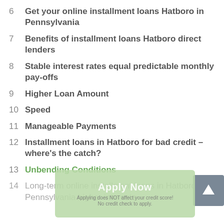6  Get your online installment loans Hatboro in Pennsylvania
7  Benefits of installment loans Hatboro direct lenders
8  Stable interest rates equal predictable monthly pay-offs
9  Higher Loan Amount
10  Speed
11  Manageable Payments
12  Installment loans in Hatboro for bad credit – where's the catch?
13  Unbending Conditions
14  Long-term online installment loans in Hatboro of Pennsylvania higher interests
[Figure (other): Scroll-to-top button with upward arrow icon, gray square button on the right side]
[Figure (other): Apply Now green overlay button with text: Apply Now, Applying does NOT affect your credit score!, No credit check to apply.]